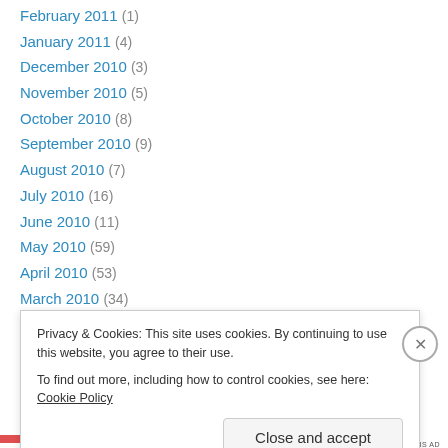February 2011 (1)
January 2011 (4)
December 2010 (3)
November 2010 (5)
October 2010 (8)
September 2010 (9)
August 2010 (7)
July 2010 (16)
June 2010 (11)
May 2010 (59)
April 2010 (53)
March 2010 (34)
February 2010 (36)
January 2010 (32)
Privacy & Cookies: This site uses cookies. By continuing to use this website, you agree to their use.
To find out more, including how to control cookies, see here: Cookie Policy